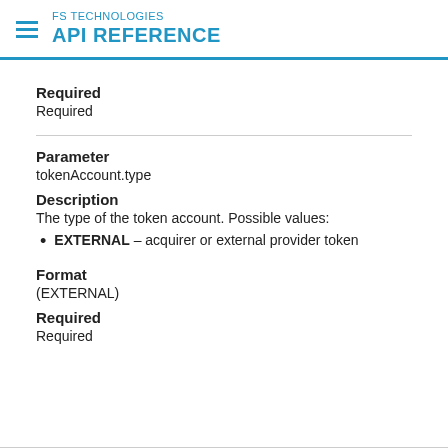FS TECHNOLOGIES API REFERENCE
Required
Required
Parameter
tokenAccount.type
Description
The type of the token account. Possible values:
EXTERNAL – acquirer or external provider token
Format
(EXTERNAL)
Required
Required